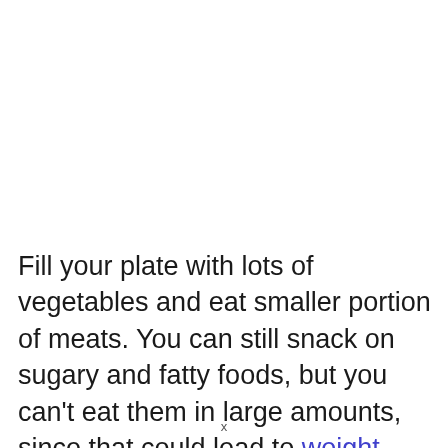Fill your plate with lots of vegetables and eat smaller portion of meats. You can still snack on sugary and fatty foods, but you can't eat them in large amounts, since that could lead to weight gain
x